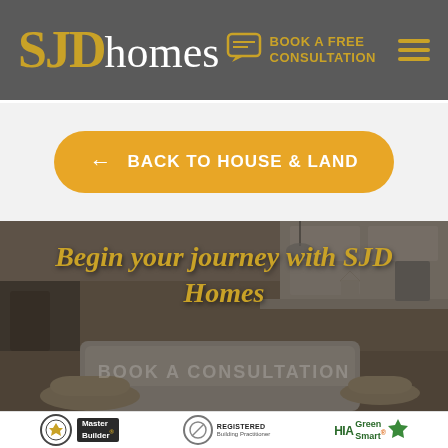[Figure (logo): SJD Homes logo with golden SJD letters and white homes text on dark grey header background]
BOOK A FREE CONSULTATION
[Figure (other): Back to House & Land golden rounded button with left arrow]
[Figure (photo): Hero image of modern home interior with kitchen and living room, dark overlay with italic gold text: Begin your journey with SJD Homes, and ghost text BOOK A CONSULTATION]
Begin your journey with SJD Homes
[Figure (logo): Footer with three logos: Master Builder, Registered Building Practitioner, HIA GreenSmart]